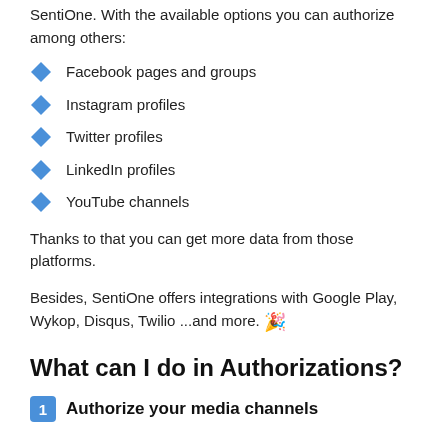SentiOne. With the available options you can authorize among others:
Facebook pages and groups
Instagram profiles
Twitter profiles
LinkedIn profiles
YouTube channels
Thanks to that you can get more data from those platforms.
Besides, SentiOne offers integrations with Google Play, Wykop, Disqus, Twilio ...and more. 🎉
What can I do in Authorizations?
Authorize your media channels